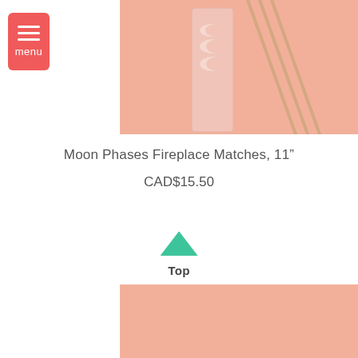[Figure (other): Menu button with three horizontal lines and 'menu' label on red/coral background]
[Figure (photo): Top portion of product photo showing Moon Phases Fireplace Matches box with moon phase illustrations and long wooden matches on peach background]
Moon Phases Fireplace Matches, 11”
CAD$15.50
[Figure (other): Upward chevron arrow in teal/green color with 'Top' label below]
[Figure (photo): Bottom portion of product photo on peach/salmon background, partial view]